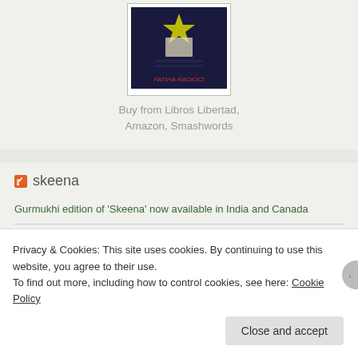[Figure (illustration): Book cover with dark navy background, star/book graphic, and author name in red italic text: FATIHA RAOIOCI]
Buy from Libros Libertad, Amazon, Smashwords
skeena
Gurmukhi edition of ‘Skeena’ now available in India and Canada
‘Both Haunting and Beautiful’ Skeena – a Testimonial by Bubbles McKegney
Privacy & Cookies: This site uses cookies. By continuing to use this website, you agree to their use.
To find out more, including how to control cookies, see here: Cookie Policy